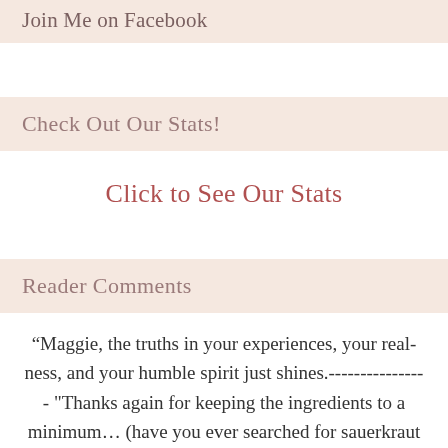Join Me on Facebook
Check Out Our Stats!
Click to See Our Stats
Reader Comments
“Maggie, the truths in your experiences, your real-ness, and your humble spirit just shines.---------------- "Thanks again for keeping the ingredients to a minimum… (have you ever searched for sauerkraut and pork chop recipes oh my goodness!!)" ---------------------- "Wow, Maggie! Awesome tips here. And I WISH my fridge was as organized as the one pictured. Good kitchen